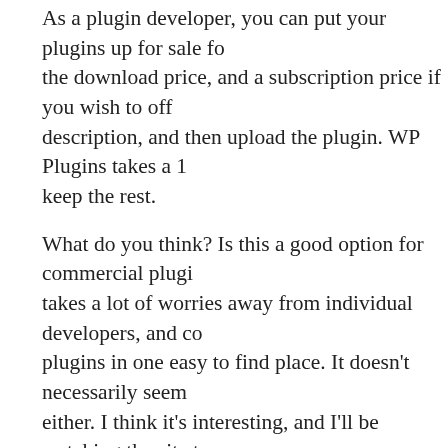As a plugin developer, you can put your plugins up for sale fo... the download price, and a subscription price if you wish to off... description, and then upload the plugin. WP Plugins takes a 1... keep the rest.
What do you think? Is this a good option for commercial plugi... takes a lot of worries away from individual developers, and co... plugins in one easy to find place. It doesn't necessarily seem... either. I think it's interesting, and I'll be watching the site to se...
Subscribe ▾
Related Posts
Would You Pay F...
Blogsessive on W... GPL
Commercial Wor...